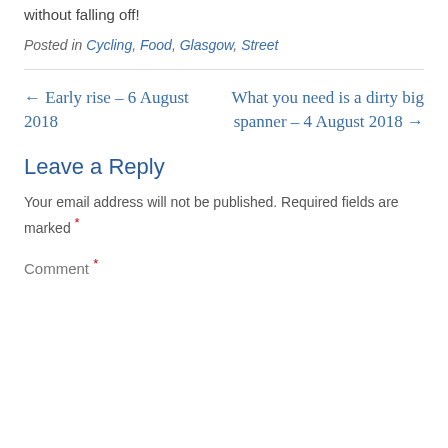without falling off!
Posted in Cycling, Food, Glasgow, Street
← Early rise – 6 August 2018
What you need is a dirty big spanner – 4 August 2018 →
Leave a Reply
Your email address will not be published. Required fields are marked *
Comment *